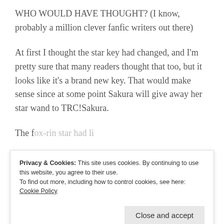WHO WOULD HAVE THOUGHT? (I know, probably a million clever fanfic writers out there)
At first I thought the star key had changed, and I'm pretty sure that many readers thought that too, but it looks like it's a brand new key. That would make sense since at some point Sakura will give away her star wand to TRC!Sakura.
The fox-rin star had li... (partial, cut off)
Privacy & Cookies: This site uses cookies. By continuing to use this website, you agree to their use. To find out more, including how to control cookies, see here: Cookie Policy
Close and accept
...think even more that the mysterious figure is (partial, cut off)